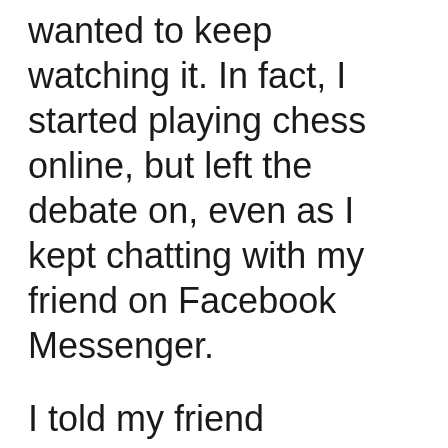wanted to keep watching it. In fact, I started playing chess online, but left the debate on, even as I kept chatting with my friend on Facebook Messenger.
I told my friend numerous times that the moderator, Mike Wallace, a FOX anchor, lost control of the debate.
Perhaps that was a good thing, for it allowed the viewing audience to see both candidates through whatever lenses the audience wore. However, I ran for public office 10 times in Key West and the Florida Keys, and I know what campaign forum and debate